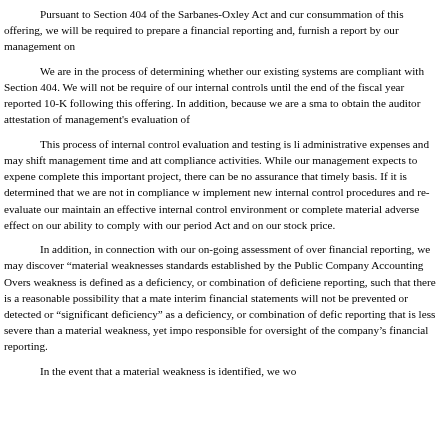Pursuant to Section 404 of the Sarbanes-Oxley Act and cur consummation of this offering, we will be required to prepare a financial reporting and, furnish a report by our management on
We are in the process of determining whether our existing systems are compliant with Section 404. We will not be require of our internal controls until the end of the fiscal year reported 10-K following this offering. In addition, because we are a sma to obtain the auditor attestation of management's evaluation of
This process of internal control evaluation and testing is li administrative expenses and may shift management time and att compliance activities. While our management expects to expene complete this important project, there can be no assurance that timely basis. If it is determined that we are not in compliance w implement new internal control procedures and re-evaluate our maintain an effective internal control environment or complete material adverse effect on our ability to comply with our period Act and on our stock price.
In addition, in connection with our on-going assessment of over financial reporting, we may discover “material weaknesses standards established by the Public Company Accounting Overs weakness is defined as a deficiency, or combination of deficiene reporting, such that there is a reasonable possibility that a mate interim financial statements will not be prevented or detected or “significant deficiency” as a deficiency, or combination of defic reporting that is less severe than a material weakness, yet impo responsible for oversight of the company’s financial reporting.
In the event that a material weakness is identified, we wo